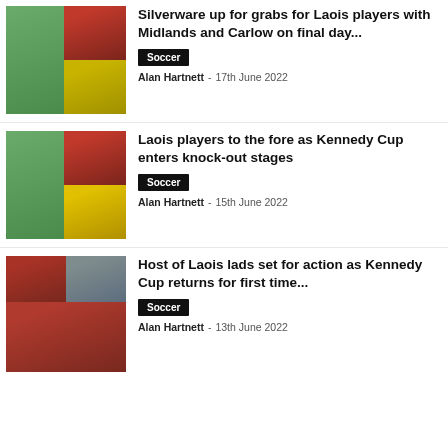[Figure (photo): Collage of youth soccer players in green, red, and yellow kits]
Silverware up for grabs for Laois players with Midlands and Carlow on final day...
Soccer
Alan Hartnett - 17th June 2022
[Figure (photo): Collage of youth soccer players in green, red, and yellow kits]
Laois players to the fore as Kennedy Cup enters knock-out stages
Soccer
Alan Hartnett - 15th June 2022
[Figure (photo): Collage of youth soccer players in red and black kits including team photo]
Host of Laois lads set for action as Kennedy Cup returns for first time...
Soccer
Alan Hartnett - 13th June 2022